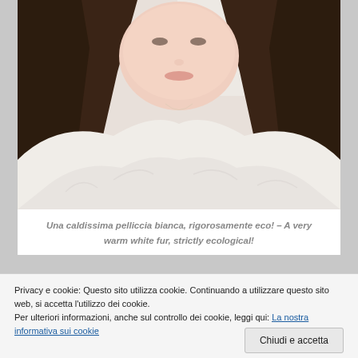[Figure (photo): Close-up photo of a young woman with long dark hair smiling, wearing a white fluffy eco-fur coat]
Una caldissima pelliccia bianca, rigorosamente eco! – A very warm white fur, strictly ecological!
[Figure (photo): Partial view of a second photo strip at bottom of page]
Privacy e cookie: Questo sito utilizza cookie. Continuando a utilizzare questo sito web, si accetta l'utilizzo dei cookie.
Per ulteriori informazioni, anche sul controllo dei cookie, leggi qui: La nostra informativa sui cookie
Chiudi e accetta